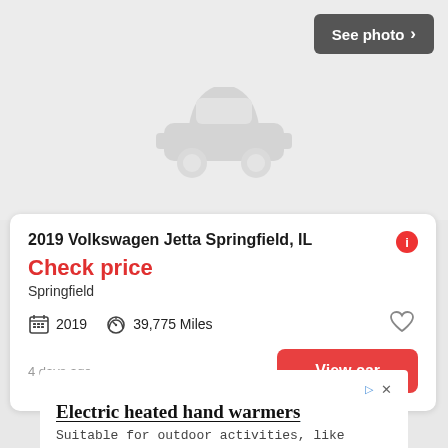[Figure (illustration): Car listing placeholder image: gray background with a stylized car silhouette icon in the center. A 'See photo >' button appears in the top-right corner.]
2019 Volkswagen Jetta Springfield, IL
Check price
Springfield
2019   39,775 Miles
4 days ago
View car
Electric heated hand warmers
Suitable for outdoor activities, like hunting, camping, cycling, hiking, etc.
Ocoopa Hand Warmer